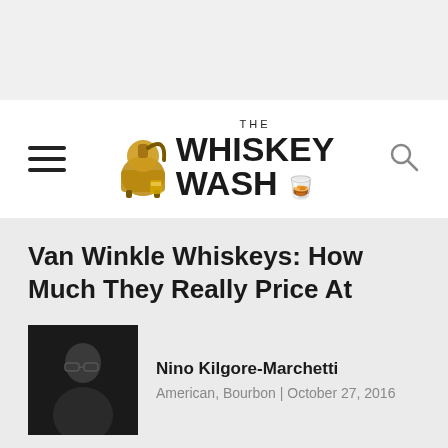[Figure (logo): The Whiskey Wash logo with distillery still icon]
Van Winkle Whiskeys: How Much They Really Price At
Nino Kilgore-Marchetti
American, Bourbon | October 27, 2016